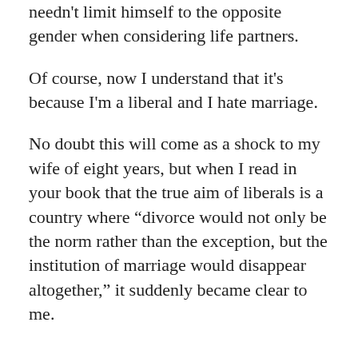needn't limit himself to the opposite gender when considering life partners.
Of course, now I understand that it's because I'm a liberal and I hate marriage.
No doubt this will come as a shock to my wife of eight years, but when I read in your book that the true aim of liberals is a country where “divorce would not only be the norm rather than the exception, but the institution of marriage would disappear altogether,” it suddenly became clear to me.
Another thing that had been bugging me before I saw your book was the strange sense of dread I sometimes get arriving home at night. Often my